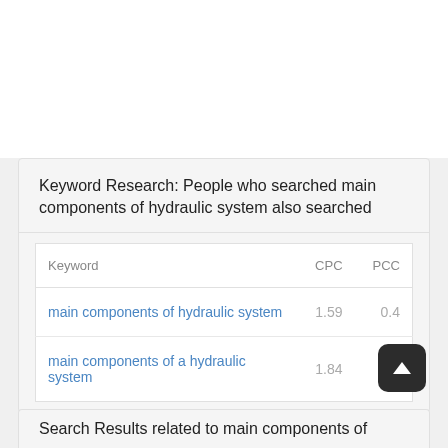Keyword Research: People who searched main components of hydraulic system also searched
| Keyword | CPC | PCC |
| --- | --- | --- |
| main components of hydraulic system | 1.59 | 0.4 |
| main components of a hydraulic system | 1.84 | 0.2 |
Search Results related to main components of